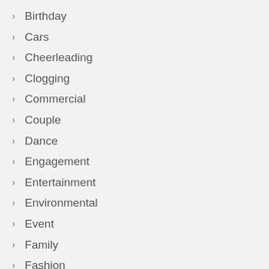Birthday
Cars
Cheerleading
Clogging
Commercial
Couple
Dance
Engagement
Entertainment
Environmental
Event
Family
Fashion
Fitness
Fitness
Football